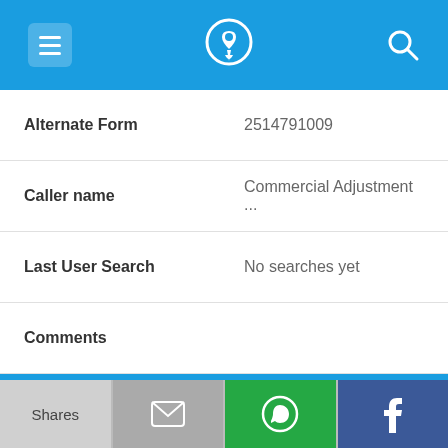App header with menu, phone logo, and search icons
| Field | Value |
| --- | --- |
| Alternate Form | 2514791009 |
| Caller name | Commercial Adjustment ... |
| Last User Search | No searches yet |
| Comments |  |
251-479-1144
| Field | Value |
| --- | --- |
| Alternate Form | 2514791144 |
Shares | Email | WhatsApp | Facebook